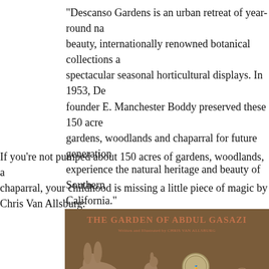“Descanso Gardens is an urban retreat of year-round natural beauty, internationally renowned botanical collections and spectacular seasonal horticultural displays. In 1953, De founder E. Manchester Boddy preserved these 150 acres of gardens, woodlands and chaparral for future generations to experience the natural heritage and beauty of Southern California.”
If you’re not pumped about 150 acres of gardens, woodlands, and chaparral, your childhood is missing a little piece of magic by Chris Van Allsburg:
[Figure (illustration): Book cover of 'The Garden of Abdul Gasazi' written and illustrated by Chris Van Allsburg, showing topiary animal sculptures in sepia/brown tones with a Caldecott Honor medal.]